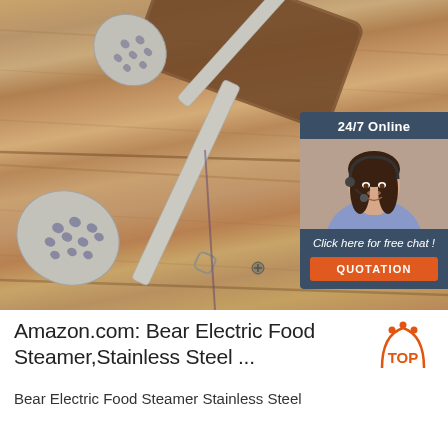[Figure (photo): Two stainless steel slotted spoons/ladles lying on a wooden cutting board and wood plank surface. An overlay ad banner in the top-right corner shows a customer service agent (woman with headset) with text '24/7 Online', 'Click here for free chat!', and an orange 'QUOTATION' button.]
Amazon.com: Bear Electric Food Steamer,Stainless Steel ...
Bear Electric Food Steamer Stainless Steel